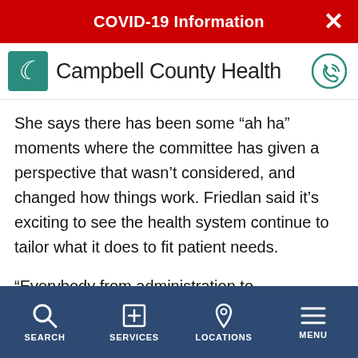COVID-19 Information
[Figure (logo): Campbell County Health logo with teal crescent moon icon]
She says there has been some “ah ha” moments where the committee has given a perspective that wasn’t considered, and changed how things work. Friedlan said it’s exciting to see the health system continue to tailor what it does to fit patient needs.
“Everybody from administration to housekeeping is focused on patients, a change that’s happened in recent years. They welcome our opinion—whether it’s
SEARCH   SERVICES   LOCATIONS   MENU